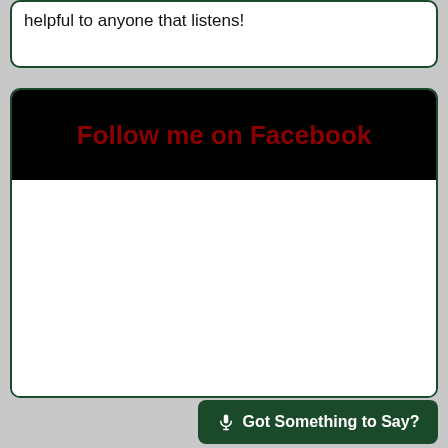helpful to anyone that listens!
Follow me on Facebook
[Figure (other): Empty white Facebook widget embed area]
🎤 Got Something to Say?